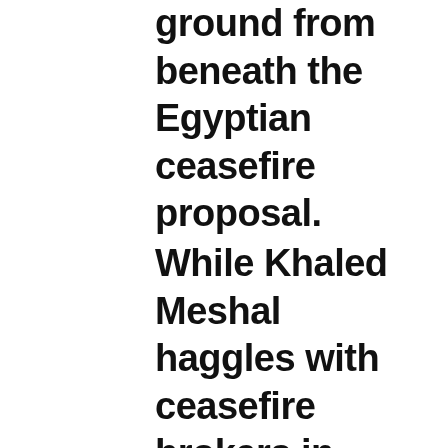ground from beneath the Egyptian ceasefire proposal.
While Khaled Meshal haggles with ceasefire brokers in Qatar, his agents are known to have appealed urgently to Tehran to find the